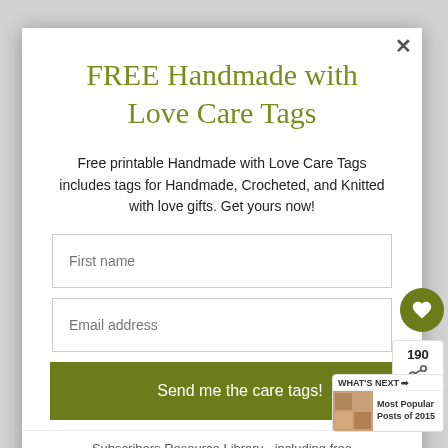FREE Handmade with Love Care Tags
Free printable Handmade with Love Care Tags includes tags for Handmade, Crocheted, and Knitted with love gifts. Get yours now!
First name
Email address
Send me the care tags!
Subscribers Resource Library - including free